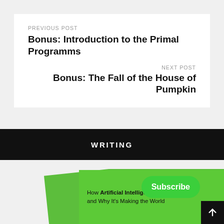PREVIOUS POST
Bonus: Introduction to the Primal Programms
NEXT POST
Bonus: The Fall of the House of Pumpkin
WRITING
[Figure (photo): Green book cover partially visible at bottom of page, text reads 'How Artificial Intelligence Works and Why It’s Making the World']
Subscribe